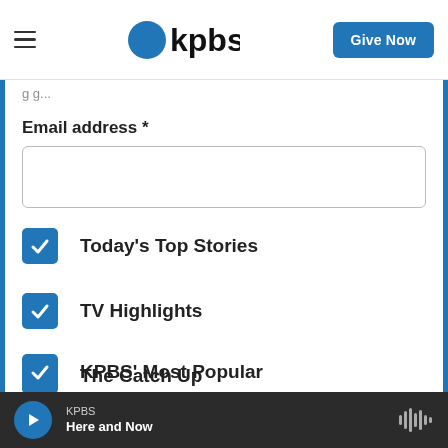kpbs — Give Now
Email address *
Today's Top Stories (checked)
TV Highlights (checked)
The Catch Up (checked)
KPBS/Arts (checked)
KPBS' Most Popular (checked, partially visible)
KPBS — Here and Now